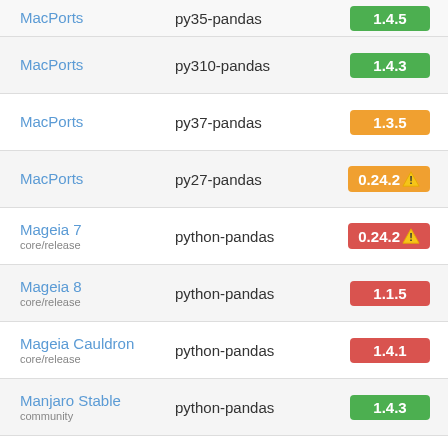| Distribution | Package | Version |
| --- | --- | --- |
| MacPorts | py35-pandas | 1.4.5 |
| MacPorts | py310-pandas | 1.4.3 |
| MacPorts | py37-pandas | 1.3.5 |
| MacPorts | py27-pandas | 0.24.2 ⚠ |
| Mageia 7 core/release | python-pandas | 0.24.2 ⚠ |
| Mageia 8 core/release | python-pandas | 1.1.5 |
| Mageia Cauldron core/release | python-pandas | 1.4.1 |
| Manjaro Stable community | python-pandas | 1.4.3 |